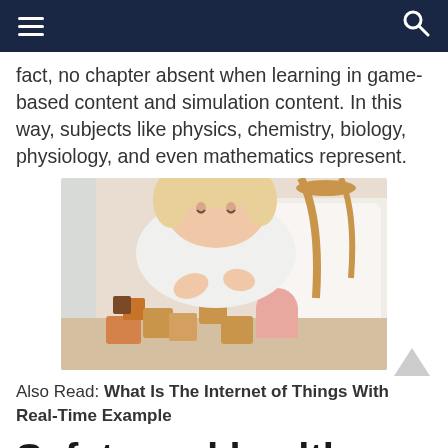navigation bar with hamburger menu and search icon
fact, no chapter absent when learning in game-based content and simulation content. In this way, subjects like physics, chemistry, biology, physiology, and even mathematics represent.
[Figure (photo): A young toddler with blonde hair playing with colorful wooden building blocks on a table, with a wooden chair and white pillow in the background.]
Also Read: What Is The Internet of Things With Real-Time Example
Safety and health